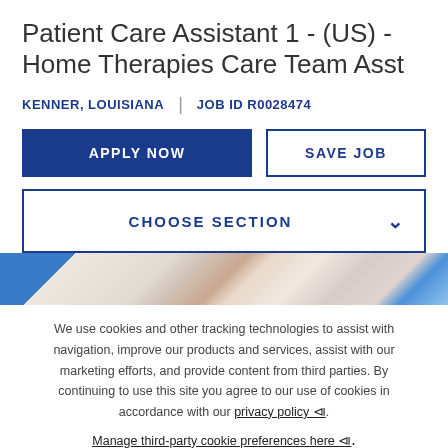Patient Care Assistant 1 - (US) - Home Therapies Care Team Asst
KENNER, LOUISIANA | JOB ID R0028474
APPLY NOW
SAVE JOB
CHOOSE SECTION
[Figure (photo): Partial view of medical staff in a care setting]
We use cookies and other tracking technologies to assist with navigation, improve our products and services, assist with our marketing efforts, and provide content from third parties. By continuing to use this site you agree to our use of cookies in accordance with our privacy policy ⧉. Manage third-party cookie preferences here ⧉.
Accept